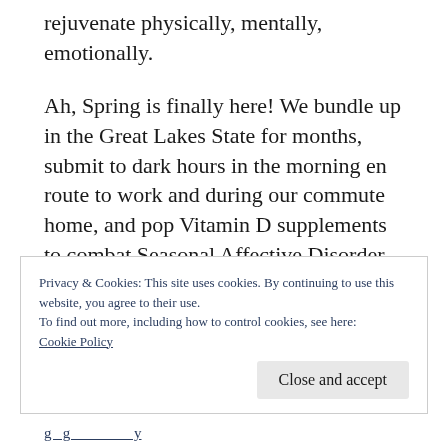rejuvenate physically, mentally, emotionally.
Ah, Spring is finally here! We bundle up in the Great Lakes State for months, submit to dark hours in the morning en route to work and during our commute home, and pop Vitamin D supplements to combat Seasonal Affective Disorder.
Privacy & Cookies: This site uses cookies. By continuing to use this website, you agree to their use.
To find out more, including how to control cookies, see here: Cookie Policy
Close and accept
g g y